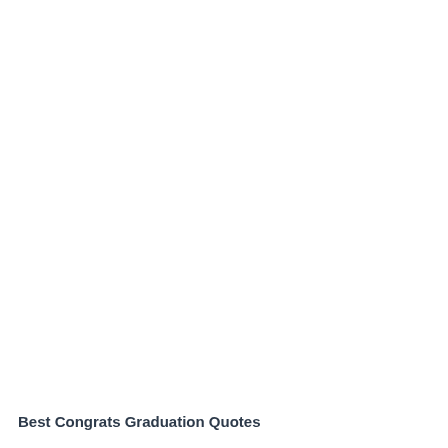Best Congrats Graduation Quotes